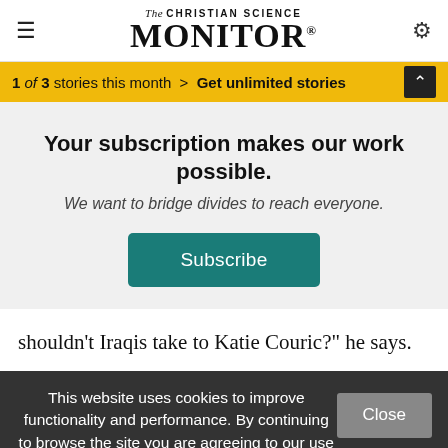The Christian Science Monitor
1 of 3 stories this month > Get unlimited stories
Your subscription makes our work possible.
We want to bridge divides to reach everyone.
Subscribe
shouldn't Iraqis take to Katie Couric?" he says.
This website uses cookies to improve functionality and performance. By continuing to browse the site you are agreeing to our use of cookies.